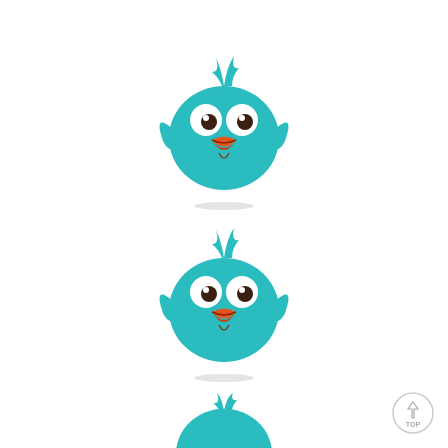[Figure (illustration): Cartoon teal/turquoise bird face with orange beak, white eyes with dark pupils, and wing-like side feathers. Shown three times vertically, partially cropped at bottom. Small elliptical shadow beneath each bird. A circular 'TOP' navigation button in the bottom-right corner.]